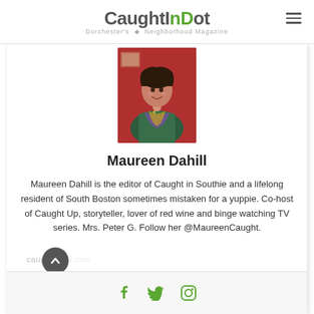CaughtInDot — Dorchester's Neighborhood Magazine
[Figure (photo): Portrait photo of Maureen Dahill, a woman with dark hair, smiling, wearing a colorful patterned top, against a red background]
Maureen Dahill
Maureen Dahill is the editor of Caught in Southie and a lifelong resident of South Boston sometimes mistaken for a yuppie. Co-host of Caught Up, storyteller, lover of red wine and binge watching TV series. Mrs. Peter G. Follow her @MaureenCaught.
caughtindot.com